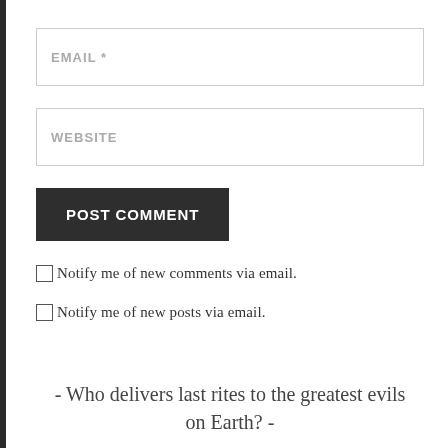EMAIL *
WEBSITE
POST COMMENT
Notify me of new comments via email.
Notify me of new posts via email.
- Who delivers last rites to the greatest evils on Earth? -